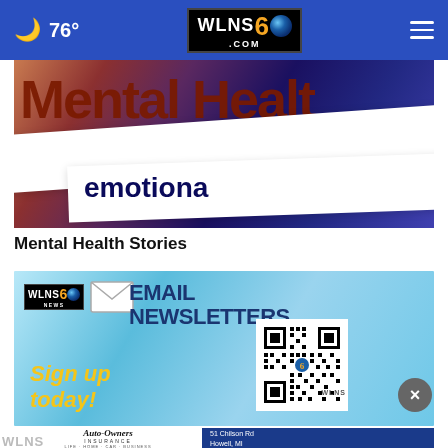🌙 76° | WLNS 6 .COM
[Figure (photo): Torn paper strips showing text 'Mental Health' and 'emotional' on a blurred colorful background]
Mental Health Stories
[Figure (infographic): WLNS 6 News Email Newsletters advertisement with QR code and 'Sign up today!' text]
[Figure (infographic): Auto-Owners Insurance advertisement with Akin & Akin Insurance agency info: 51 Chilson Rd, Howell, MI, 517-546-4810]